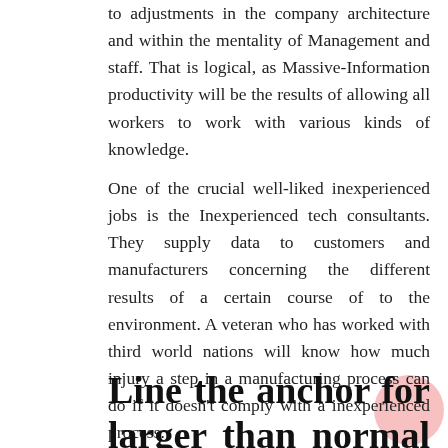to adjustments in the company architecture and within the mentality of Management and staff. That is logical, as Massive-Information productivity will be the results of allowing all workers to work with various kinds of knowledge.
One of the crucial well-liked inexperienced jobs is the Inexperienced tech consultants. They supply data to customers and manufacturers concerning the different results of a certain course of to the environment. A veteran who has worked with third world nations will know how much injury a step in a manufacturing process can do if it doesn't comply with a inexperienced process.
Line the anchor for larger than normal roof tiles.